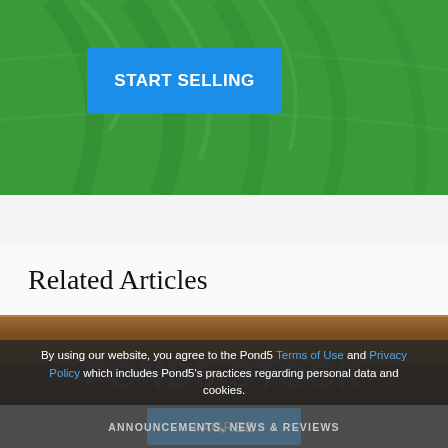[Figure (photo): Green leaf background with a blue 'START SELLING' button overlaid on top]
START SELLING
Related Articles
[Figure (photo): Dark wooden surface background with Pond5 Stock watermark text]
By using our website, you agree to the Pond5 Terms of Use and Privacy Policy which includes Pond5's practices regarding personal data and cookies.
I AGREE
ANNOUNCEMENTS, NEWS & REVIEWS